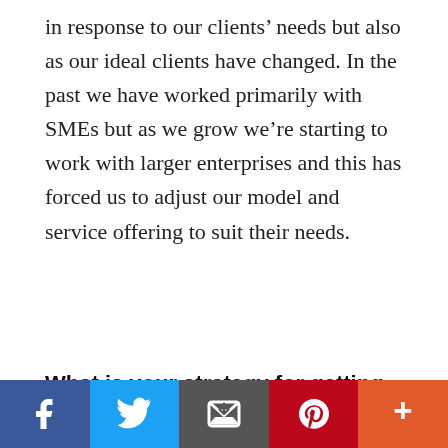in response to our clients' needs but also as our ideal clients have changed. In the past we have worked primarily with SMEs but as we grow we're starting to work with larger enterprises and this has forced us to adjust our model and service offering to suit their needs.
What is your strategy for getting people
This website uses cookies to ensure you get the best experience on our website. Learn more
Got it!